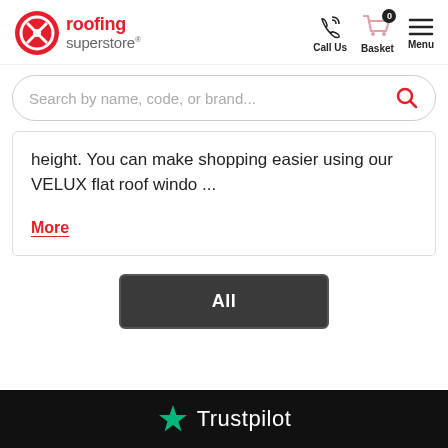[Figure (logo): Roofing Superstore logo with red circle icon and text]
[Figure (infographic): Navigation icons: Call Us (phone), Basket (cart with 0), Menu (hamburger)]
Search by name, code, or brand...
height. You can make shopping easier using our VELUX flat roof windo ...
More
All
[Figure (logo): Trustpilot logo with green star on black background]